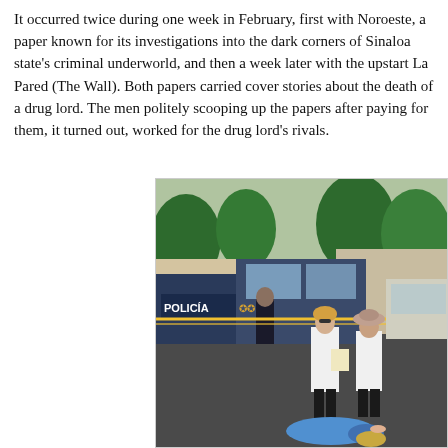It occurred twice during one week in February, first with Noroeste, a paper known for its investigations into the dark corners of Sinaloa state's criminal underworld, and then a week later with the upstart La Pared (The Wall). Both papers carried cover stories about the death of a drug lord. The men politely scooping up the papers after paying for them, it turned out, worked for the drug lord's rivals.
[Figure (photo): Street crime scene photo showing two forensic investigators in white lab coats examining a body covered with a blue cloth lying on asphalt. A POLICÍA (police) truck is parked in the background with officers nearby. Trees and buildings visible in the background.]